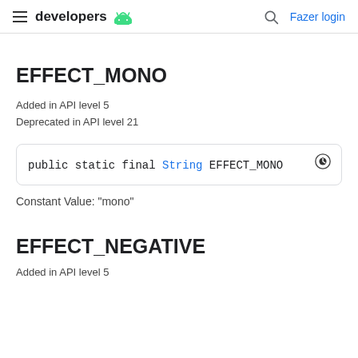developers | Fazer login
EFFECT_MONO
Added in API level 5
Deprecated in API level 21
public static final String EFFECT_MONO
Constant Value: "mono"
EFFECT_NEGATIVE
Added in API level 5